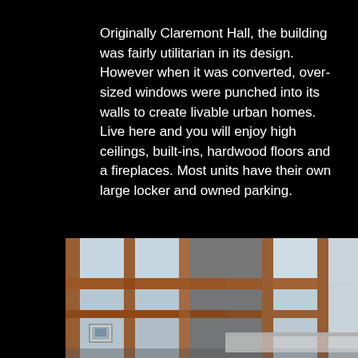Originally Claremont Hall, the building was fairly utilitarian in its design. However when it was converted, over-sized windows were punched into its walls to create livable urban homes. Live here and you will enjoy high ceilings, built-ins, hardwood floors and a fireplaces. Most units have their own large locker and owned parking.
[Figure (photo): Interior photo of a converted building showing high ceilings with large wooden-framed glass partitions/windows, light grey ceiling, a framed picture on the wall in background, with an arrow navigation button overlay.]